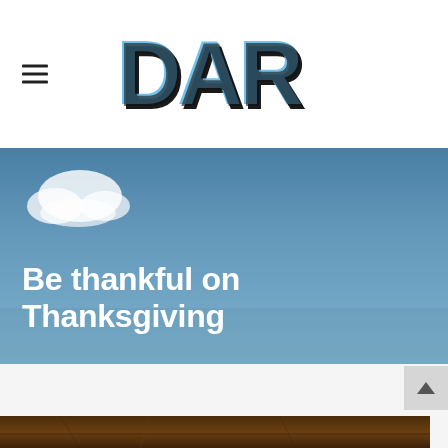DAR
[Figure (photo): Sky with clouds and blue gradient background, used as hero image for article titled 'Be thankful on Thanksgiving']
Be thankful on Thanksgiving
[Figure (photo): Wooden table surface visible at the bottom of the page, partially shown]